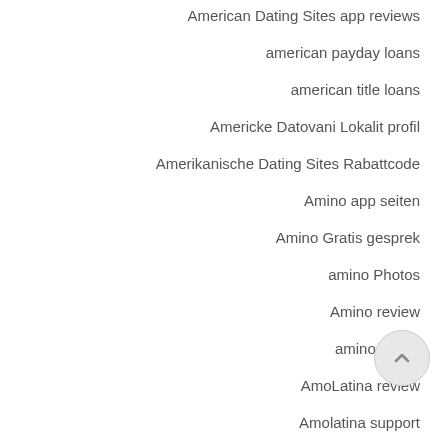American Dating Sites app reviews
american payday loans
american title loans
Americke Datovani Lokalit profil
Amerikanische Dating Sites Rabattcode
Amino app seiten
Amino Gratis gesprek
amino Photos
Amino review
amino vivere
AmoLatina review
Amolatina support